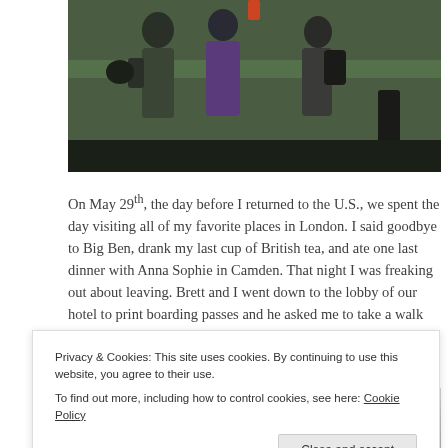[Figure (photo): Partial view of people standing outdoors, appears to be on a bridge or walkway with a green railing. People wearing jackets and carrying bags.]
On May 29th, the day before I returned to the U.S., we spent the day visiting all of my favorite places in London. I said goodbye to Big Ben, drank my last cup of British tea, and ate one last dinner with Anna Sophie in Camden. That night I was freaking out about leaving. Brett and I went down to the lobby of our hotel to print boarding passes and he asked me to take a walk with him.
[Figure (photo): Bottom portion of a photo, partially obscured by cookie banner. Appears to be a city skyline or outdoor scene with light grey tones.]
Privacy & Cookies: This site uses cookies. By continuing to use this website, you agree to their use.
To find out more, including how to control cookies, see here: Cookie Policy